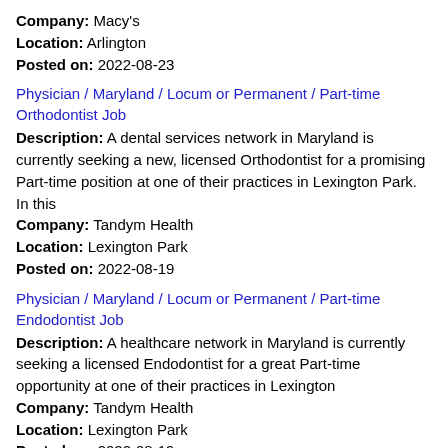Company: Macy's
Location: Arlington
Posted on: 2022-08-23
Physician / Maryland / Locum or Permanent / Part-time Orthodontist Job
Description: A dental services network in Maryland is currently seeking a new, licensed Orthodontist for a promising Part-time position at one of their practices in Lexington Park. In this
Company: Tandym Health
Location: Lexington Park
Posted on: 2022-08-19
Physician / Maryland / Locum or Permanent / Part-time Endodontist Job
Description: A healthcare network in Maryland is currently seeking a licensed Endodontist for a great Part-time opportunity at one of their practices in Lexington
Company: Tandym Health
Location: Lexington Park
Posted on: 2022-08-19
Physician / Surgery - General / Maryland / Locum or Permanent / Part-time Oral Surgeon Job
Description: A dental services network in Maryland is currently seeking a new, licensed Oral Surgeon for a promising Part-time position at one of their practices